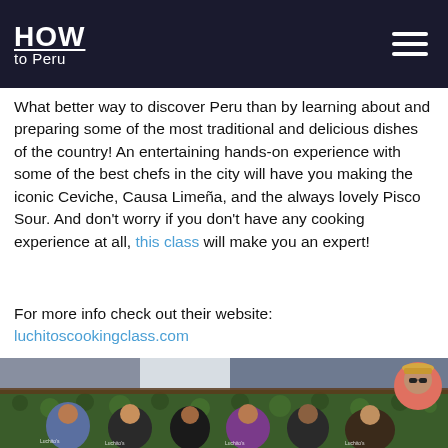HOW to Peru
What better way to discover Peru than by learning about and preparing some of the most traditional and delicious dishes of the country! An entertaining hands-on experience with some of the best chefs in the city will have you making the iconic Ceviche, Causa Limeña, and the always lovely Pisco Sour. And don't worry if you don't have any cooking experience at all, this class will make you an expert!
For more info check out their website:
luchitoscookingclass.com
[Figure (photo): Group photo of cooking class participants in black aprons with Luchito's branding in front of a green hedge backdrop, with a circular inset portrait in the bottom right corner.]